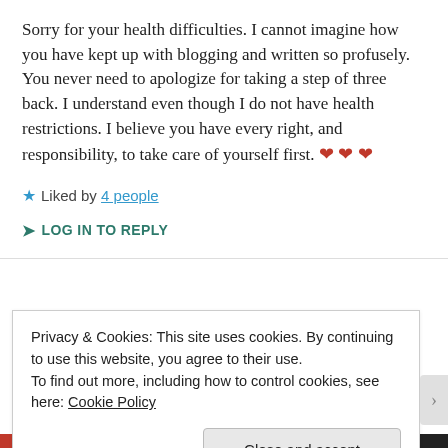Sorry for your health difficulties. I cannot imagine how you have kept up with blogging and written so profusely. You never need to apologize for taking a step of three back. I understand even though I do not have health restrictions. I believe you have every right, and responsibility, to take care of yourself first. ❤ ❤ ❤
★ Liked by 4 people
➤ LOG IN TO REPLY
Privacy & Cookies: This site uses cookies. By continuing to use this website, you agree to their use. To find out more, including how to control cookies, see here: Cookie Policy
Close and accept